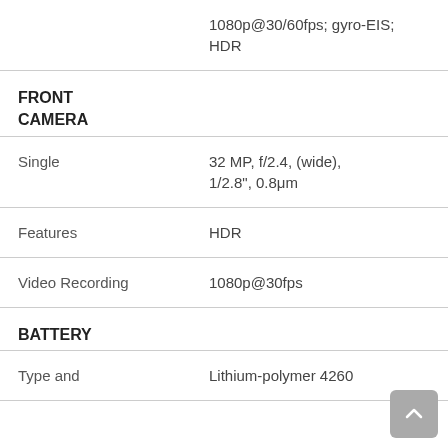1080p@30/60fps; gyro-EIS; HDR
FRONT CAMERA
|  |  |
| --- | --- |
| Single | 32 MP, f/2.4, (wide), 1/2.8", 0.8μm |
| Features | HDR |
| Video Recording | 1080p@30fps |
BATTERY
|  |  |
| --- | --- |
| Type and | Lithium-polymer 4260 |